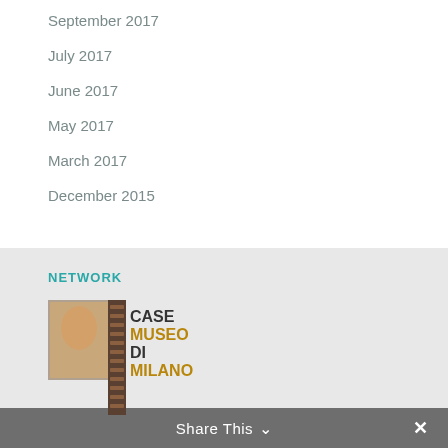September 2017
July 2017
June 2017
May 2017
March 2017
December 2015
NETWORK
[Figure (logo): Case Museo di Milano logo with cross design and portrait image]
Share This  ✓  ✕